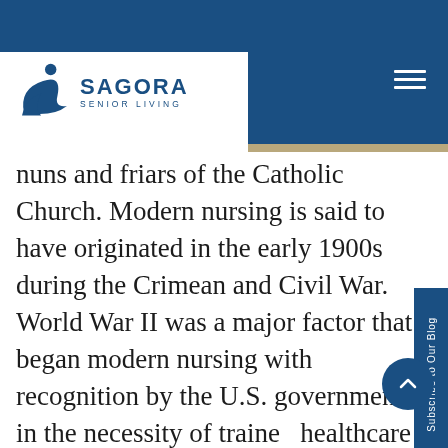Sagora Senior Living
nuns and friars of the Catholic Church. Modern nursing is said to have originated in the early 1900s during the Crimean and Civil War.  World War II was a major factor that began modern nursing with recognition by the U.S. government in the necessity of trained healthcare workforce being supported by formal licensing and degrees.  Today, nursing has branched into distinctive specializations like general practice, pediatric, trauma, critical care and geriatric nursing.